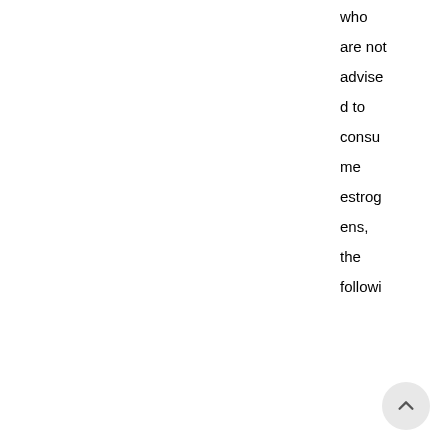who are not advised to consume estrogens, the following can be used:
Selective modulators of estrogen receptors : tamoxifen or raloxifene ;
Tibolone : a medication derived from noresteroids that can have positive effects on hot flushes, sexuality and the maintenance of bone mass.